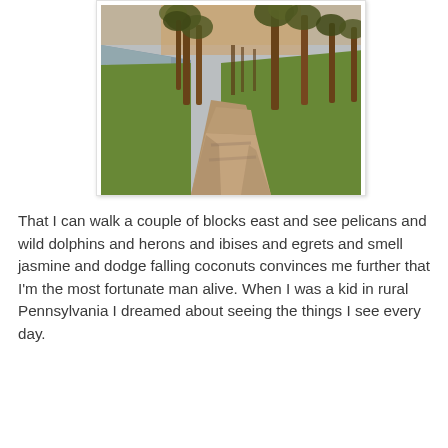[Figure (photo): A palm-tree lined concrete walkway/path curving into the distance along a waterfront park, photographed at golden hour. Green grass on both sides, water visible to the left, warm sunlight filtering through the palm trees.]
That I can walk a couple of blocks east and see pelicans and wild dolphins and herons and ibises and egrets and smell jasmine and dodge falling coconuts convinces me further that I'm the most fortunate man alive. When I was a kid in rural Pennsylvania I dreamed about seeing the things I see every day.